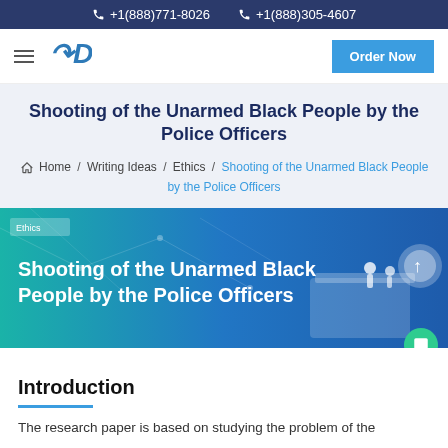+1(888)771-8026  +1(888)305-4607
[Figure (logo): Navigation bar with hamburger menu, TD logo, and Order Now button]
Shooting of the Unarmed Black People by the Police Officers
Home / Writing Ideas / Ethics / Shooting of the Unarmed Black People by the Police Officers
[Figure (illustration): Banner graphic with blue-green gradient background showing the title 'Shooting of the Unarmed Black People by the Police Officers' in white text, with isometric figures of people standing on a platform, and geometric network lines. An 'Ethics' tag in the top left corner.]
Introduction
The research paper is based on studying the problem of the